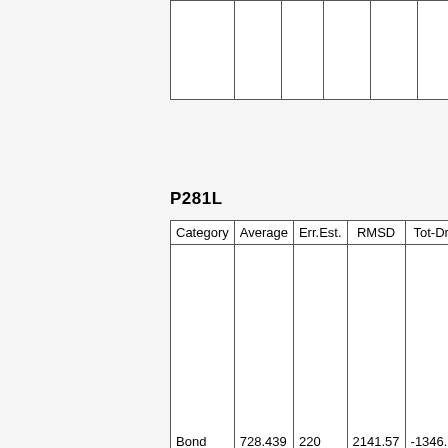|  |
P281L
| Category | Average | Err.Est. | RMSD | Tot-Drift | C |
| --- | --- | --- | --- | --- | --- |
| Bond | 728.439 | 220 | 2141.57 | -1346.93 |  |